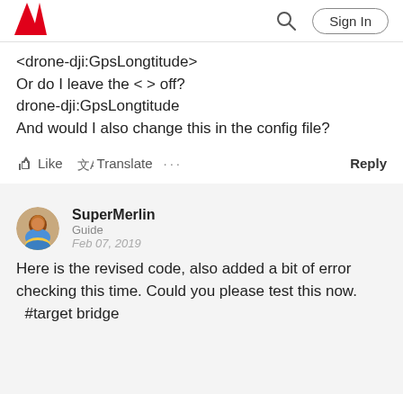Adobe | Sign In
<drone-dji:GpsLongtitude>
Or do I leave the < > off?
drone-dji:GpsLongtitude
And would I also change this in the config file?
Like  Translate  ...  Reply
SuperMerlin
Guide
Feb 07, 2019
Here is the revised code, also added a bit of error checking this time. Could you please test this now.
  #target bridge